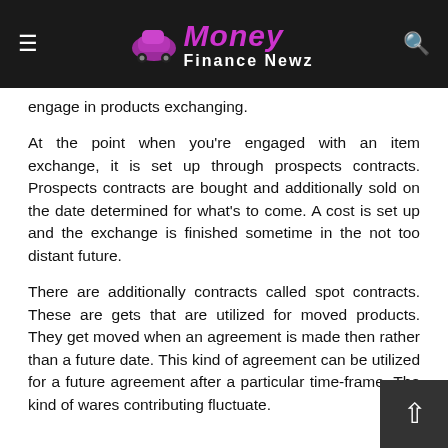Money Finance Newz
engage in products exchanging.
At the point when you're engaged with an item exchange, it is set up through prospects contracts. Prospects contracts are bought and additionally sold on the date determined for what's to come. A cost is set up and the exchange is finished sometime in the not too distant future.
There are additionally contracts called spot contracts. These are gets that are utilized for moved products. They get moved when an agreement is made then rather than a future date. This kind of agreement can be utilized for a future agreement after a particular time-frame. The kind of wares contributing fluctuate.